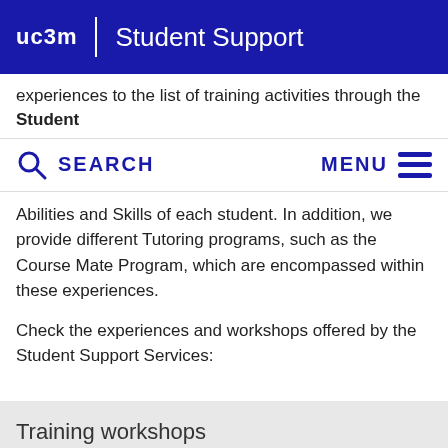uc3m | Student Support
experiences to the list of training activities through the Student
SEARCH    MENU
Abilities and Skills of each student. In addition, we provide different Tutoring programs, such as the Course Mate Program, which are encompassed within these experiences.

Check the experiences and workshops offered by the Student Support Services:
Training workshops
Getafe Campus
Leganés Campus